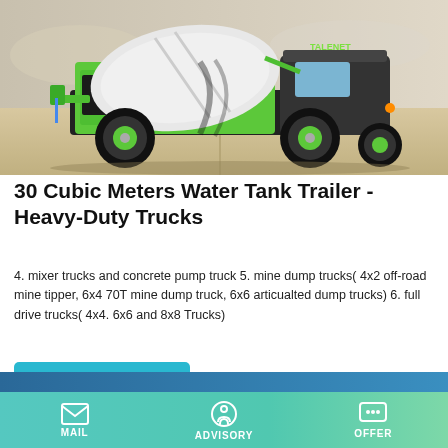[Figure (photo): Green TALENET brand cement mixer truck / self-loading concrete mixer on a paved surface with sandy/water background.]
30 Cubic Meters Water Tank Trailer - Heavy-Duty Trucks
4. mixer trucks and concrete pump truck 5. mine dump trucks( 4x2 off-road mine tipper, 6x4 70T mine dump truck, 6x6 articualted dump trucks) 6. full drive trucks( 4x4. 6x6 and 8x8 Trucks)
Learn More
MAIL  ADVISORY  OFFER